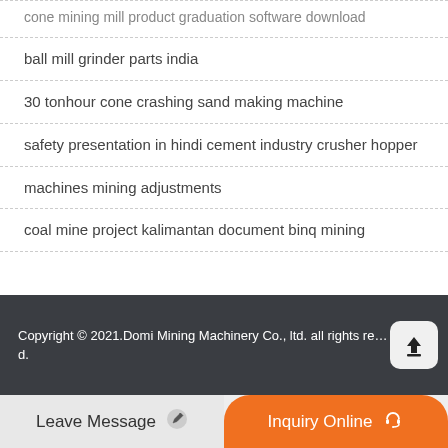cone mining mill product graduation software download
ball mill grinder parts india
30 tonhour cone crashing sand making machine
safety presentation in hindi cement industry crusher hopper
machines mining adjustments
coal mine project kalimantan document binq mining
Copyright © 2021.Domi Mining Machinery Co., ltd. all rights reserved.
Leave Message
Inquiry Online